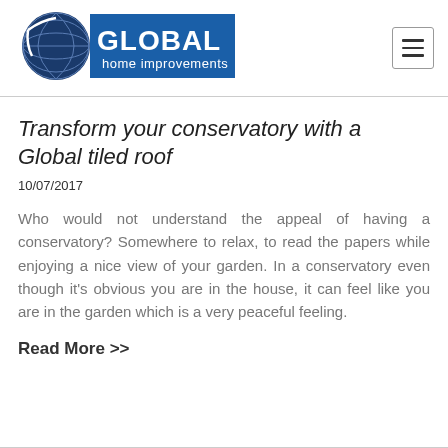GLOBAL home improvements
Transform your conservatory with a Global tiled roof
10/07/2017
Who would not understand the appeal of having a conservatory?  Somewhere to relax, to read the papers while enjoying a nice view of your garden.  In a conservatory even though it's obvious you are in the house, it can feel like you are in the garden which is a very peaceful feeling.
Read More >>